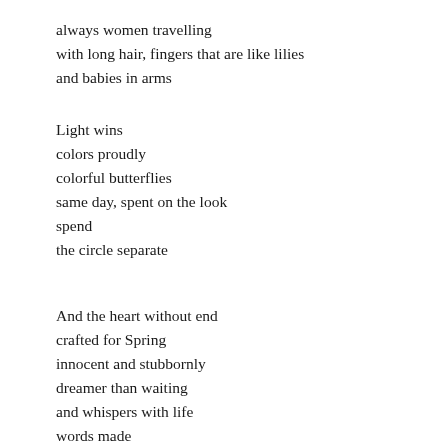always women travelling
with long hair, fingers that are like lilies
and babies in arms
Light wins
colors proudly
colorful butterflies
same day, spent on the look
spend
the circle separate
And the heart without end
crafted for Spring
innocent and stubbornly
dreamer than waiting
and whispers with life
words made
THE KISS OF TRUTH
People always leave alone
moulded
from hesitation and fear